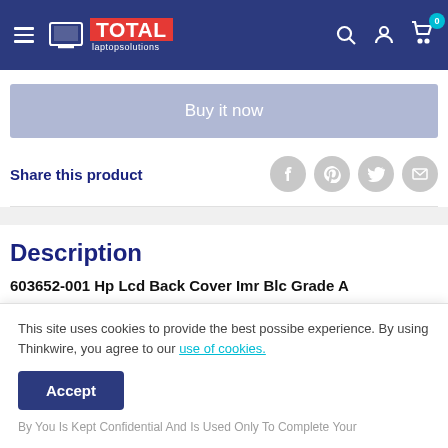Total Laptop Solutions
Buy it now
Share this product
Description
603652-001 Hp Lcd Back Cover Imr Blc Grade A
This site uses cookies to provide the best possibe experience. By using Thinkwire, you agree to our use of cookies.
By You Is Kept Confidential And Is Used Only To Complete Your